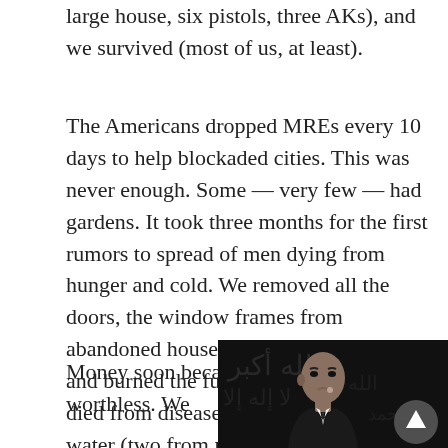large house, six pistols, three AKs), and we survived (most of us, at least).
The Americans dropped MREs every 10 days to help blockaded cities. This was never enough. Some — very few — had gardens. It took three months for the first rumors to spread of men dying from hunger and cold. We removed all the doors, the window frames from abandoned houses, ripped up the floors and burned the furniture for heat. Many died from diseases, especially from the water (two from my own family). We drank mostly rainwater, ate pigeons and even rats.
Money soon became worthless. We
[Figure (photo): Black and white photo of a man in a suit with finger to lips, in front of Arabic script text background, with a circular back-to-top button overlay in bottom right]